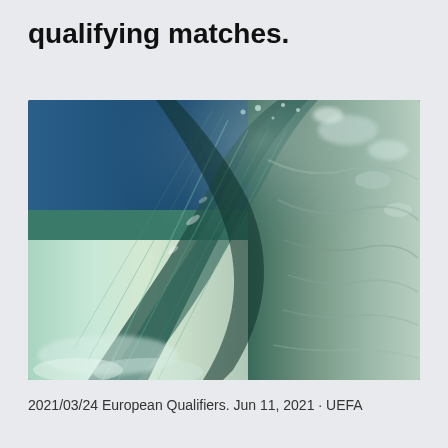qualifying matches.
[Figure (photo): Close-up macro photograph of a breaking ocean wave, showing the interior curl of the wave with teal and blue water on the left and sandy, textured foam on the right. The image captures the underwater perspective looking through the wave barrel.]
2021/03/24 European Qualifiers. Jun 11, 2021 · UEFA